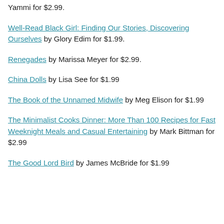Yummi for $2.99.
Well-Read Black Girl: Finding Our Stories, Discovering Ourselves by Glory Edim for $1.99.
Renegades by Marissa Meyer for $2.99.
China Dolls by Lisa See for $1.99
The Book of the Unnamed Midwife by Meg Elison for $1.99
The Minimalist Cooks Dinner: More Than 100 Recipes for Fast Weeknight Meals and Casual Entertaining by Mark Bittman for $2.99
The Good Lord Bird by James McBride for $1.99